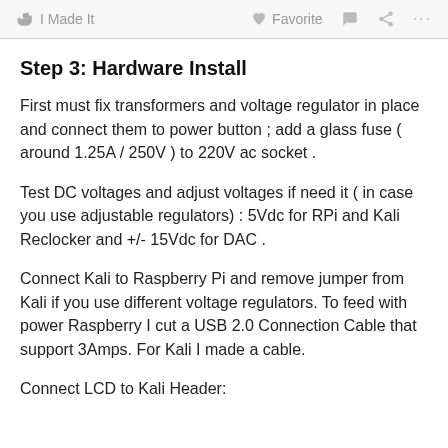I Made It   Favorite   ...
Step 3: Hardware Install
First must fix transformers and voltage regulator in place and connect them to power button ; add a glass fuse ( around 1.25A / 250V ) to 220V ac socket .
Test DC voltages and adjust voltages if need it ( in case you use adjustable regulators) : 5Vdc for RPi and Kali Reclocker and +/- 15Vdc for DAC .
Connect Kali to Raspberry Pi and remove jumper from Kali if you use different voltage regulators. To feed with power Raspberry I cut a USB 2.0 Connection Cable that support 3Amps. For Kali I made a cable.
Connect LCD to Kali Header: